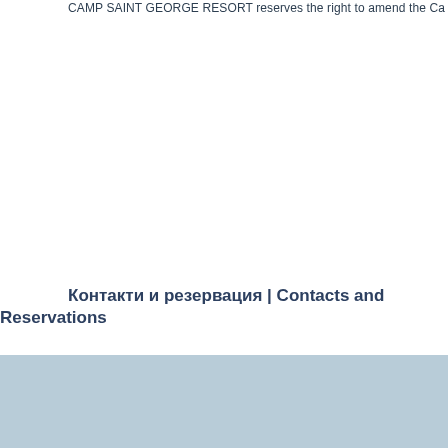CAMP SAINT GEORGE RESORT reserves the right to amend the Ca
Контакти и резервация | Contacts and Reservations
[Figure (other): Solid light blue/steel blue background block filling the bottom portion of the page]